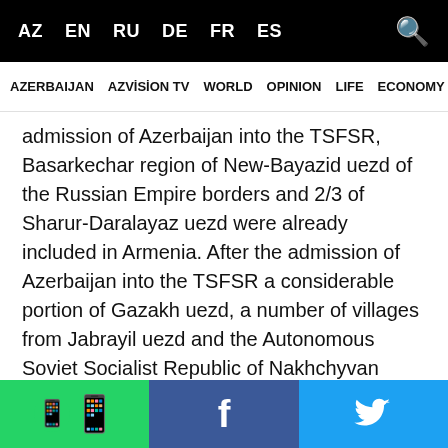AZ EN RU DE FR ES
AZERBAIJAN   AZVİSİON TV   WORLD   OPINION   LIFE   ECONOMY   iW
admission of Azerbaijan into the TSFSR, Basarkechar region of New-Bayazid uezd of the Russian Empire borders and 2/3 of Sharur-Daralayaz uezd were already included in Armenia. After the admission of Azerbaijan into the TSFSR a considerable portion of Gazakh uezd, a number of villages from Jabrayil uezd and the Autonomous Soviet Socialist Republic of Nakhchyvan (hereinafter – Nakhchyvan ASSR) were included in Armenia.
On the pretext of resettling the Armenians coming from abroad, the Council of Ministers of the USSR adopted on 23 December 1947 and 10 March 1948 special